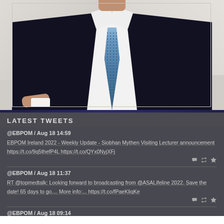[Figure (photo): Cropped photo of a man in a dark navy suit with a light blue patterned tie and white shirt, photographed from chest level up against a neutral background.]
LATEST TWEETS
@EBPOM / Aug 18 14:59
EBPOM Ireland 2022 - Weekly Update - Siobhan Mythen Visiting Lecturer announcement https://t.co/9q5thefP4L https://t.co/QYx0NyjXFj
@EBPOM / Aug 18 11:37
RT @topmedtalk: Looking forward to broadcasting from @ASALifeline 2022. Save the date! 65 days to go.... More info:... https://t.co/fPaeKliqKe
@EBPOM / Aug 18 09:14